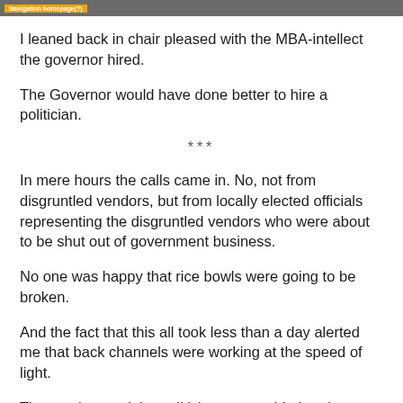Navigation homepage(?)
I leaned back in chair pleased with the MBA-intellect the governor hired.
The Governor would have done better to hire a politician.
***
In mere hours the calls came in. No, not from disgruntled vendors, but from locally elected officials representing the disgruntled vendors who were about to be shut out of government business.
No one was happy that rice bowls were going to be broken.
And the fact that this all took less than a day alerted me that back channels were working at the speed of light.
The vendors and the politicians were aided and abetted by an army of helpful bureaucrats who pushed all that paper around.
The populace clamors for efficient government as long as suppliers and jobs are cut in someone else's backyard.